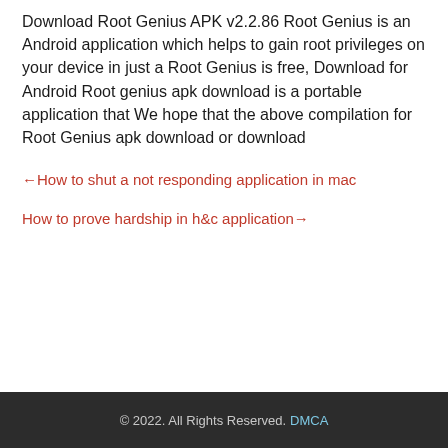Download Root Genius APK v2.2.86 Root Genius is an Android application which helps to gain root privileges on your device in just a Root Genius is free, Download for Android Root genius apk download is a portable application that We hope that the above compilation for Root Genius apk download or download
←How to shut a not responding application in mac
How to prove hardship in h&c application→
© 2022. All Rights Reserved. DMCA